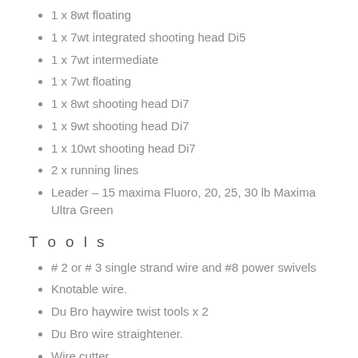1 x 8wt floating
1 x 7wt integrated shooting head Di5
1 x 7wt intermediate
1 x 7wt floating
1 x 8wt shooting head Di7
1 x 9wt shooting head Di7
1 x 10wt shooting head Di7
2 x running lines
Leader – 15 maxima Fluoro, 20, 25, 30 lb Maxima Ultra Green
Tools
# 2 or # 3 single strand wire and #8 power swivels
Knotable wire.
Du Bro haywire twist tools x 2
Du Bro wire straightener.
Wire cutter
Line Snips
Knives – Leatherman, Swiss army knife, opinel, Kershaw.